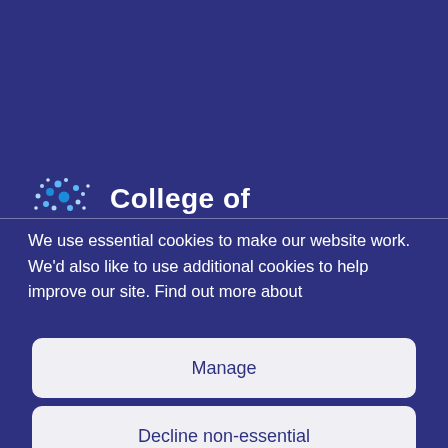[Figure (logo): College logo with blue dot cluster pattern and text 'College of' partially visible]
We use essential cookies to make our website work. We'd also like to use additional cookies to help improve our site. Find out more about
Manage
Decline non-essential
Accept all